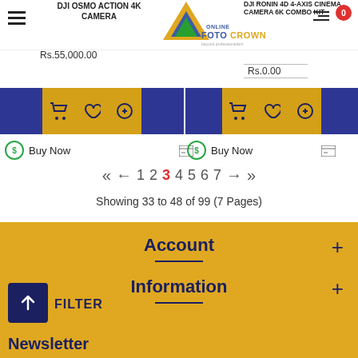DJI OSMO ACTION 4K CAMERA | ONLINE FOTO CROWN | DJI RONIN 4D 4-AXIS CINEMA CAMERA 6K COMBO KIT
Rs.55,000.00
Rs.0.00
Buy Now
Buy Now
« ← 1 2 3 4 5 6 7 → »
Showing 33 to 48 of 99 (7 Pages)
Account
Information
FILTER
Newsletter